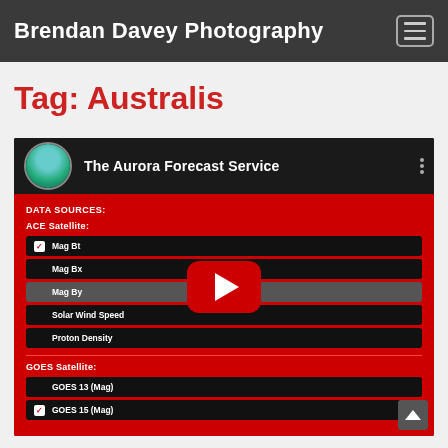Brendan Davey Photography
Tag: Australis
[Figure (screenshot): YouTube video thumbnail for 'The Aurora Forecast Service' showing a dark interface with red panel listing data sources: ACE Satellite (Mag Bt, Mag Bx, Mag By, Solar Wind Speed, Proton Density) and GOES Satellite (GOES 13 Mag, GOES 15 Mag). A YouTube play button is overlaid in the center.]